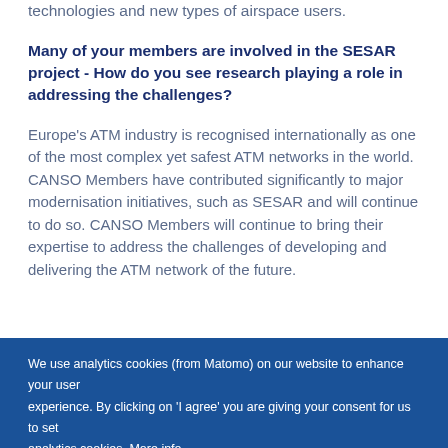technologies and new types of airspace users.
Many of your members are involved in the SESAR project - How do you see research playing a role in addressing the challenges?
Europe's ATM industry is recognised internationally as one of the most complex yet safest ATM networks in the world. CANSO Members have contributed significantly to major modernisation initiatives, such as SESAR and will continue to do so. CANSO Members will continue to bring their expertise to address the challenges of developing and delivering the ATM network of the future.
We use analytics cookies (from Matomo) on our website to enhance your user experience. By clicking on 'I agree' you are giving your consent for us to set analytics cookies. More info...